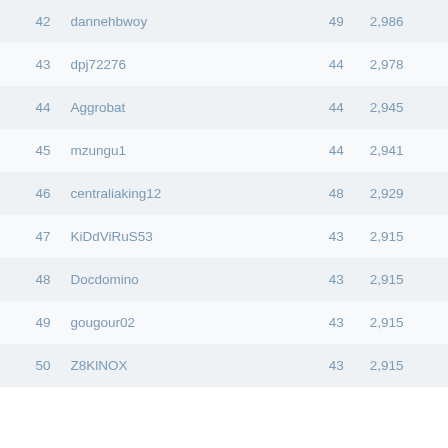|  |  |  |  |
| --- | --- | --- | --- |
| 42 | dannehbwoy | 49 | 2,986 |
| 43 | dpj72276 | 44 | 2,978 |
| 44 | Aggrobat | 44 | 2,945 |
| 45 | mzungu1 | 44 | 2,941 |
| 46 | centraliaking12 | 48 | 2,929 |
| 47 | KiDdViRuS53 | 43 | 2,915 |
| 48 | Docdomino | 43 | 2,915 |
| 49 | gougour02 | 43 | 2,915 |
| 50 | Z8KlNOX | 43 | 2,915 |